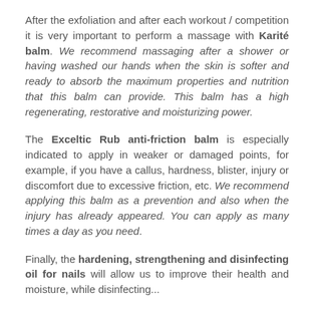After the exfoliation and after each workout / competition it is very important to perform a massage with Karité balm. We recommend massaging after a shower or having washed our hands when the skin is softer and ready to absorb the maximum properties and nutrition that this balm can provide. This balm has a high regenerating, restorative and moisturizing power.
The Exceltic Rub anti-friction balm is especially indicated to apply in weaker or damaged points, for example, if you have a callus, hardness, blister, injury or discomfort due to excessive friction, etc. We recommend applying this balm as a prevention and also when the injury has already appeared. You can apply as many times a day as you need.
Finally, the hardening, strengthening and disinfecting oil for nails will allow us to improve their health and moisture, while disinfecting...